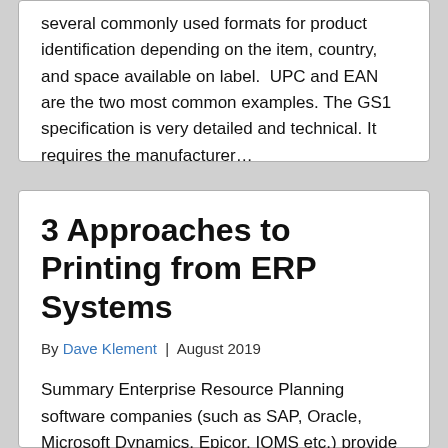several commonly used formats for product identification depending on the item, country, and space available on label.  UPC and EAN are the two most common examples. The GS1 specification is very detailed and technical. It requires the manufacturer…
3 Approaches to Printing from ERP Systems
By Dave Klement | August 2019
Summary Enterprise Resource Planning software companies (such as SAP, Oracle, Microsoft Dynamics, Epicor, IQMS etc.) provide their clients with great tools to manage and…